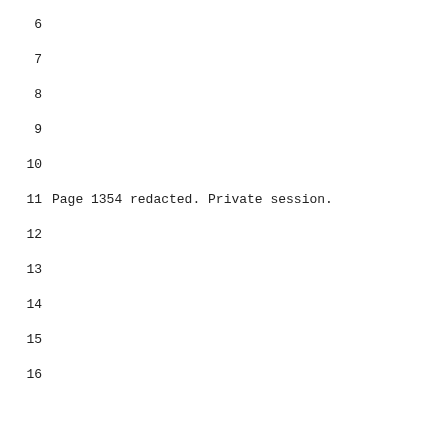6
7
8
9
10
11   Page 1354 redacted. Private session.
12
13
14
15
16